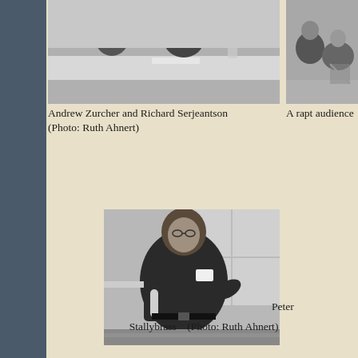[Figure (photo): Black and white photo of Andrew Zurcher and Richard Serjeantson seated at a table]
[Figure (photo): Black and white photo of a rapt audience]
Andrew Zurcher and Richard Serjeantson (Photo: Ruth Ahnert)
A rapt audience
[Figure (photo): Black and white photo of Peter Stallybrass holding a water bottle and gesturing]
Peter Stallybrass   (Photo: Ruth Ahnert)